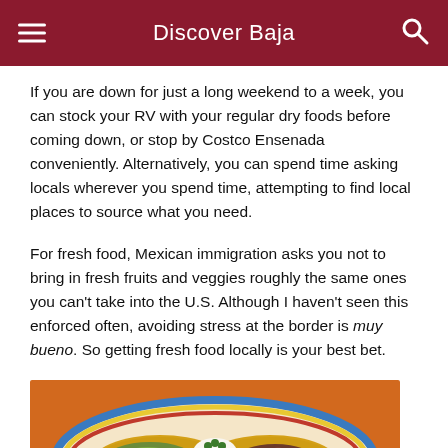Discover Baja
If you are down for just a long weekend to a week, you can stock your RV with your regular dry foods before coming down, or stop by Costco Ensenada conveniently. Alternatively, you can spend time asking locals wherever you spend time, attempting to find local places to source what you need.
For fresh food, Mexican immigration asks you not to bring in fresh fruits and veggies roughly the same ones you can't take into the U.S. Although I haven't seen this enforced often, avoiding stress at the border is muy bueno. So getting fresh food locally is your best bet.
[Figure (photo): A plate with Mexican food: corn tortillas/tostadas topped with guacamole, beans, sour cream and herbs, on a colorful striped plate with an orange background.]